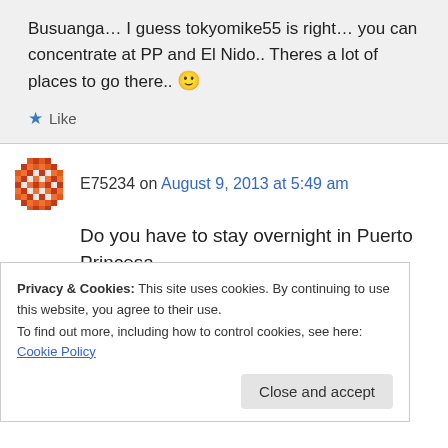Busuanga… I guess tokyomike55 is right… you can concentrate at PP and El Nido.. Theres a lot of places to go there.. 🙂
★ Like
E75234 on August 9, 2013 at 5:49 am
Do you have to stay overnight in Puerto Princesa if you choose to go to the underground river on
Privacy & Cookies: This site uses cookies. By continuing to use this website, you agree to their use.
To find out more, including how to control cookies, see here: Cookie Policy
Close and accept